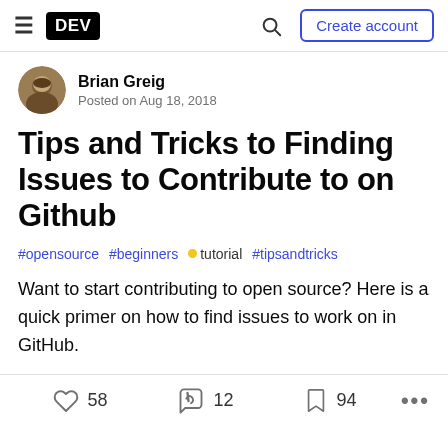DEV — Create account
Brian Greig
Posted on Aug 18, 2018
Tips and Tricks to Finding Issues to Contribute to on Github
#opensource   #beginners   #tutorial   #tipsandtricks
Want to start contributing to open source? Here is a quick primer on how to find issues to work on in GitHub.
58 reactions   12 comments   94 bookmarks